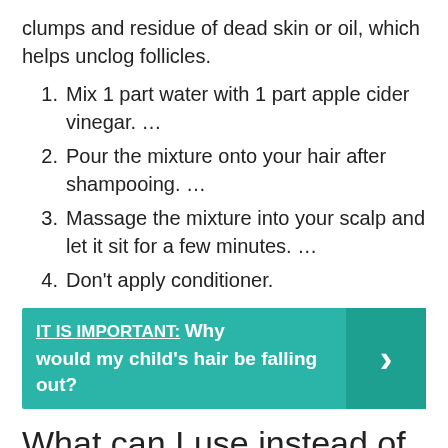clumps and residue of dead skin or oil, which helps unclog follicles.
Mix 1 part water with 1 part apple cider vinegar. …
Pour the mixture onto your hair after shampooing. …
Massage the mixture into your scalp and let it sit for a few minutes. …
Don't apply conditioner.
IT IS IMPORTANT: Why would my child's hair be falling out?
What can I use instead of dry shampoo?